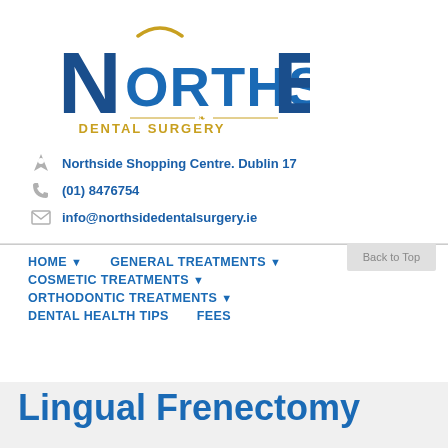[Figure (logo): Northside Dental Surgery logo with stylized N and E letters in dark blue and gold tooth arc above]
Northside Shopping Centre. Dublin 17
(01) 8476754
info@northsidedentalsurgery.ie
HOME  GENERAL TREATMENTS
COSMETIC TREATMENTS
ORTHODONTIC TREATMENTS
DENTAL HEALTH TIPS  FEES
Lingual Frenectomy